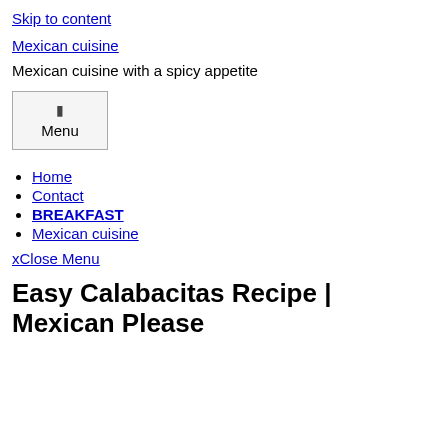Skip to content
Mexican cuisine
Mexican cuisine with a spicy appetite
Menu
Home
Contact
BREAKFAST
Mexican cuisine
xClose Menu
Easy Calabacitas Recipe | Mexican Please